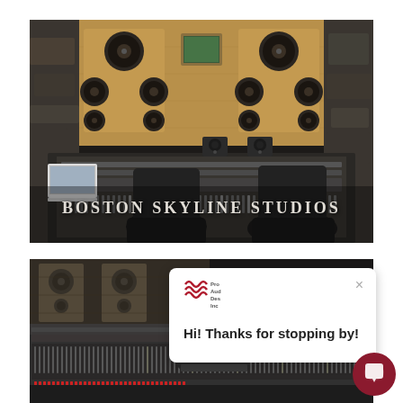[Figure (photo): Interior of Boston Skyline Studios recording studio control room, showing large mixing console, studio monitors, speakers mounted on wood panels, and black leather chairs. Text overlay reads 'Boston Skyline Studios'.]
[Figure (photo): Second recording studio control room photo showing a large mixing console with many faders and buttons, studio monitors in background, dark moody lighting.]
Hi! Thanks for stopping by!